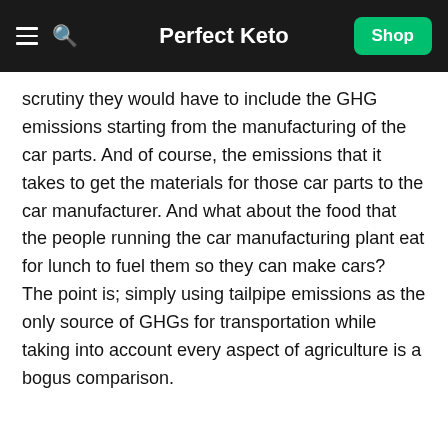Perfect Keto
scrutiny they would have to include the GHG emissions starting from the manufacturing of the car parts. And of course, the emissions that it takes to get the materials for those car parts to the car manufacturer. And what about the food that the people running the car manufacturing plant eat for lunch to fuel them so they can make cars?
The point is; simply using tailpipe emissions as the only source of GHGs for transportation while taking into account every aspect of agriculture is a bogus comparison.